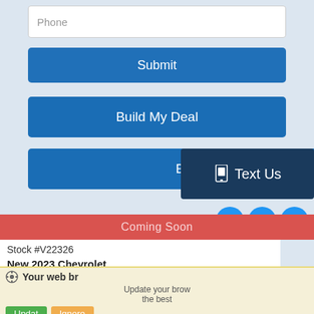Phone
Submit
Build My Deal
Book a Test Drive
Text Us
Coming Soon
Stock #V22326
New 2023 Chevrolet
Z71 SUV Sport Utility 10-Spe
$83
Your web br
Update your brow
the best
Joshua
Operator
Joshua: Hi! Welcome to Fort Frances GM. How may I assist you?
Type here...
Powered By: LiveAdmins